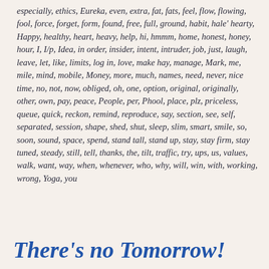especially, ethics, Eureka, even, extra, fat, fats, feel, flow, flowing, fool, force, forget, form, found, free, full, ground, habit, hale' hearty, Happy, healthy, heart, heavy, help, hi, hmmm, home, honest, honey, hour, I, I/p, Idea, in order, insider, intent, intruder, job, just, laugh, leave, let, like, limits, log in, love, make hay, manage, Mark, me, mile, mind, mobile, Money, more, much, names, need, never, nice time, no, not, now, obliged, oh, one, option, original, originally, other, own, pay, peace, People, per, Phool, place, plz, priceless, queue, quick, reckon, remind, reproduce, say, section, see, self, separated, session, shape, shed, shut, sleep, slim, smart, smile, so, soon, sound, space, spend, stand tall, stand up, stay, stay firm, stay tuned, steady, still, tell, thanks, the, tilt, traffic, try, ups, us, values, walk, want, way, when, whenever, who, why, will, win, with, working, wrong, Yoga, you
There's no Tomorrow!